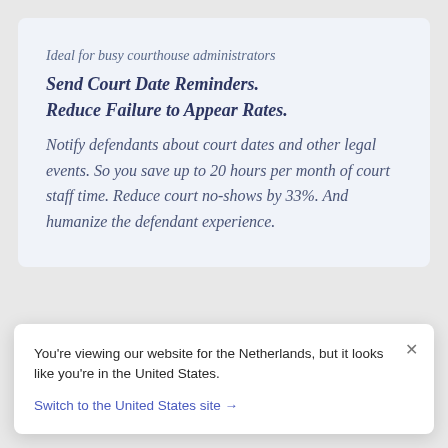Ideal for busy courthouse administrators
Send Court Date Reminders.
Reduce Failure to Appear Rates.
Notify defendants about court dates and other legal events. So you save up to 20 hours per month of court staff time. Reduce court no-shows by 33%. And humanize the defendant experience.
You’re viewing our website for the Netherlands, but it looks like you’re in the United States.
Switch to the United States site →